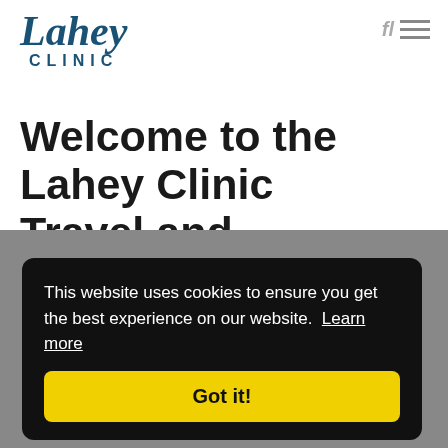[Figure (logo): Lahey Clinic logo with stylized text in dark blue, serif italic font for 'Lahey' and spaced caps for 'CLINIC']
Welcome to the Lahey Clinic Travel and Tropical Medicine Clinic
This website uses cookies to ensure you get the best experience on our website. Learn more
Got it!
Tropical disease as a travel souvenir